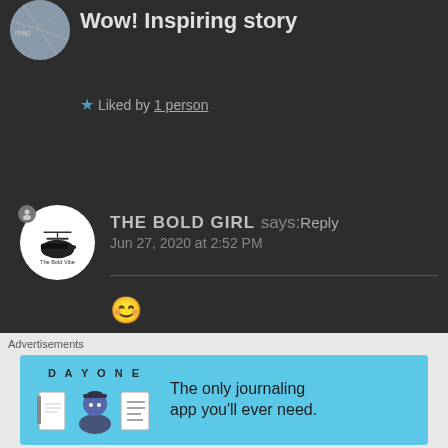Wow! Inspiring story
★ Liked by 1 person
THE BOLD GIRL says: Reply
Jun 27, 2020 at 2:52 PM
[Figure (illustration): Smiley face emoji 😊]
★ Liked by 1 person
[Figure (illustration): Partial next comment avatar (blue circle)]
[Figure (illustration): Close (X) button circle]
Advertisements
[Figure (infographic): Day One app advertisement banner: 'The only journaling app you'll ever need.' with DAY ONE logo and illustrated icons on blue background]